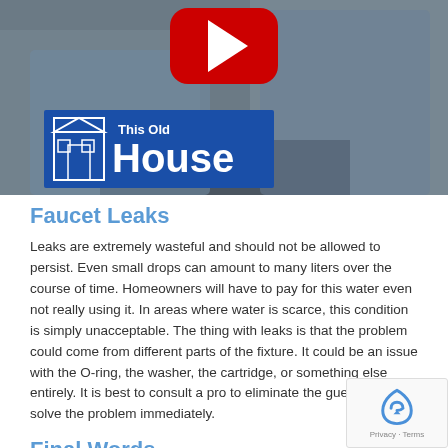[Figure (screenshot): YouTube video thumbnail showing two men in blue shirts working, with a YouTube play button icon overlaid and a 'This Old House' logo in the lower left corner]
Faucet Leaks
Leaks are extremely wasteful and should not be allowed to persist. Even small drops can amount to many liters over the course of time. Homeowners will have to pay for this water even not really using it. In areas where water is scarce, this condition is simply unacceptable. The thing with leaks is that the problem could come from different parts of the fixture. It could be an issue with the O-ring, the washer, the cartridge, or something else entirely. It is best to consult a pro to eliminate the guesswork and solve the problem immediately.
Final Words
Our kitchen faucet helps us get a lot of work done every single